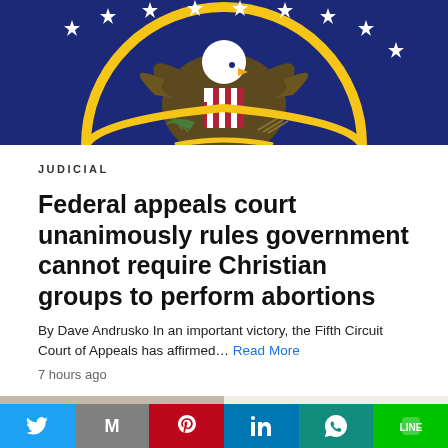[Figure (photo): Top portion of the United States federal seal/eagle emblem on a dark navy blue background with gold and colored details, partially cropped]
JUDICIAL
Federal appeals court unanimously rules government cannot require Christian groups to perform abortions
By Dave Andrusko In an important victory, the Fifth Circuit Court of Appeals has affirmed… Read More
7 hours ago
[Figure (photo): Two side-by-side photos: left shows a stuffed animal elephant toy with pink ears, right shows a young toddler/baby with light hair sitting on a couch with a play button overlay]
[Figure (infographic): Social media sharing bar with icons for Twitter, Gmail, Pinterest, LinkedIn, WhatsApp, and LINE]